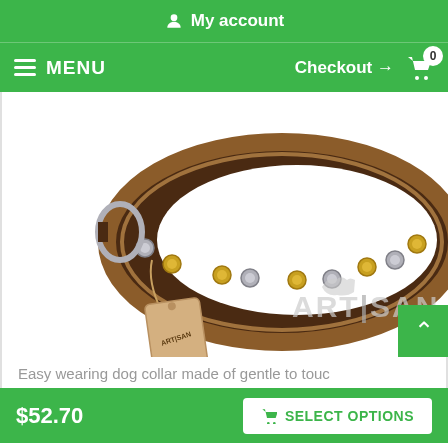My account
MENU  Checkout → 0
[Figure (photo): Brown leather dog collar with gold and silver studded decorations and an Artisan brand tag, displayed on white background with the Artisan watermark logo visible]
Easy wearing dog collar made of gentle to touc
$52.70
SELECT OPTIONS